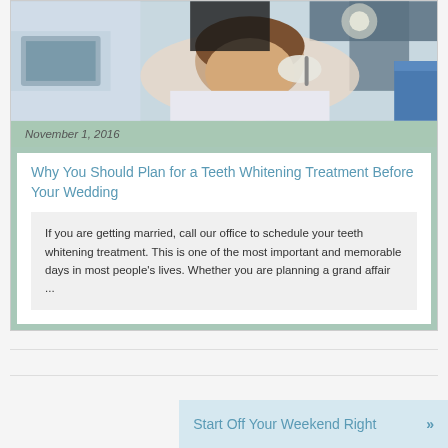[Figure (photo): Dental professional performing teeth whitening treatment on a patient lying in a dental chair]
November 1, 2016
Why You Should Plan for a Teeth Whitening Treatment Before Your Wedding
If you are getting married, call our office to schedule your teeth whitening treatment. This is one of the most important and memorable days in most people's lives. Whether you are planning a grand affair ...
Start Off Your Weekend Right »